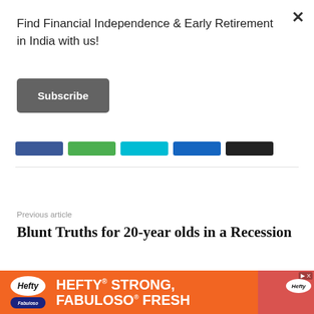Find Financial Independence & Early Retirement in India with us!
Subscribe
[Figure (infographic): Row of social share buttons: blue (Facebook), green, cyan, dark blue, black]
Previous article
Blunt Truths for 20-year olds in a Recession
[Figure (screenshot): Partial card with photo of person and chevron/expand button]
[Figure (infographic): Hefty ad banner: orange background, Hefty and Fabuloso logos, text HEFTY STRONG, FABULOSO FRESH]